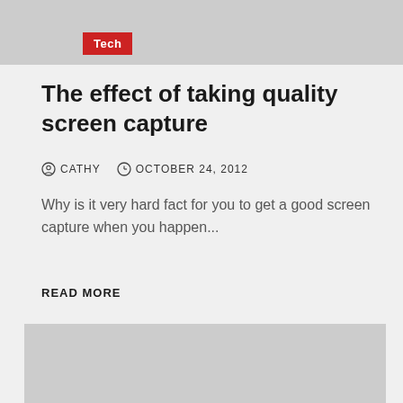Tech
The effect of taking quality screen capture
CATHY   OCTOBER 24, 2012
Why is it very hard fact for you to get a good screen capture when you happen...
READ MORE
[Figure (photo): Large gray placeholder image block]